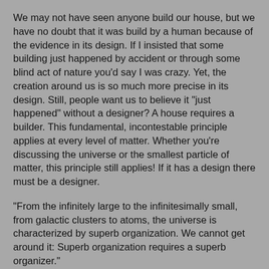We may not have seen anyone build our house, but we have no doubt that it was build by a human because of the evidence in its design. If I insisted that some building just happened by accident or through some blind act of nature you'd say I was crazy. Yet, the creation around us is so much more precise in its design. Still, people want us to believe it "just happened" without a designer? A house requires a builder. This fundamental, incontestable principle applies at every level of matter. Whether you're discussing the universe or the smallest particle of matter, this principle still applies! If it has a design there must be a designer.
"From the infinitely large to the infinitesimally small, from galactic clusters to atoms, the universe is characterized by superb organization. We cannot get around it: Superb organization requires a superb organizer."
"Faith in order, which is the basis of science, cannot reasonably be separated from faith in an ordainer, which is the basis of religion."--Asa Gray
In a person's creation, we can even see evidence of the